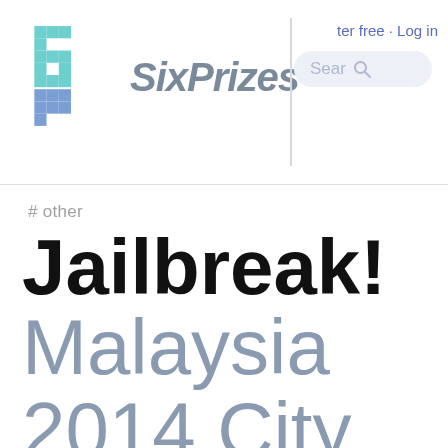SixPrizes · ter free · Log in
# other
Jailbreak! Malaysia 2014 City Championship Report with Klinklang/Reunicl